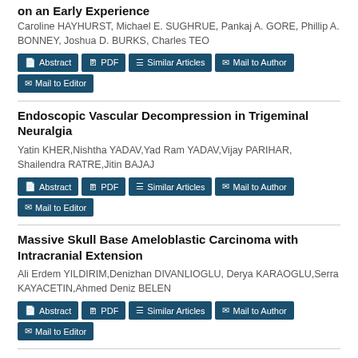on an Early Experience
Caroline HAYHURST, Michael E. SUGHRUE, Pankaj A. GORE, Phillip A. BONNEY, Joshua D. BURKS, Charles TEO
Abstract | PDF | Similar Articles | Mail to Author | Mail to Editor
Endoscopic Vascular Decompression in Trigeminal Neuralgia
Yatin KHER,Nishtha YADAV,Yad Ram YADAV,Vijay PARIHAR, Shailendra RATRE,Jitin BAJAJ
Abstract | PDF | Similar Articles | Mail to Author | Mail to Editor
Massive Skull Base Ameloblastic Carcinoma with Intracranial Extension
Ali Erdem YILDIRIM,Denizhan DIVANLIOGLU, Derya KARAOGLU,Serra KAYACETIN,Ahmed Deniz BELEN
Abstract | PDF | Similar Articles | Mail to Author | Mail to Editor
Endoscopic Endonasal Cerebrospinal Fluid Leak Repair on the